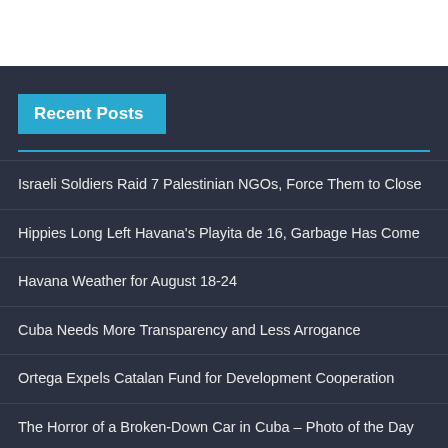Recent Posts
Israeli Soldiers Raid 7 Palestinian NGOs, Force Them to Close
Hippies Long Left Havana's Playita de 16, Garbage Has Come
Havana Weather for August 18-24
Cuba Needs More Transparency and Less Arrogance
Ortega Expels Catalan Fund for Development Cooperation
The Horror of a Broken-Down Car in Cuba – Photo of the Day